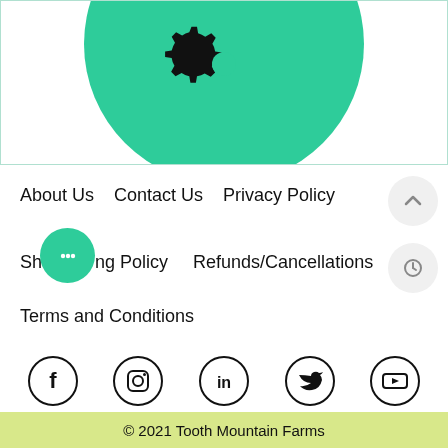[Figure (illustration): Partial view of a green circular logo with a black gear/sun symbol, shown cropped at the bottom of a bordered white box]
About Us   Contact Us   Privacy Policy
Shipping Policy   Refunds/Cancellations
Terms and Conditions
[Figure (illustration): Social media icons in circles: Facebook, Instagram, LinkedIn, Twitter, YouTube]
© 2021 Tooth Mountain Farms